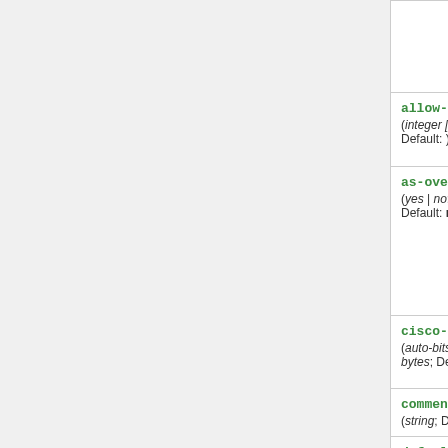| Parameter | Description |
| --- | --- |
| (continuation) | peer must supp... do) BGP capa... parameter to ne... families than IP... |
| allow-as-in (integer [0..10]; Default: ) | How many time... AS number in A... discarding a pr... |
| as-override (yes | no; Default: no) | If set, then all i... remote peer's A... BGP AS PATH ... replaced with lo... before sending... that peer. Happ... routing filters a... |
| cisco-vpls-nlri-len-fmt (auto-bits | auto-bytes | bits | bytes; Default: ) | VPLS NLRI len... Used for comp... VPLS. [[Read m... |
| comment (string; Default: ) | Description of t... |
| default-originate (always | if-installed | never; | Specifies how t... default route... |